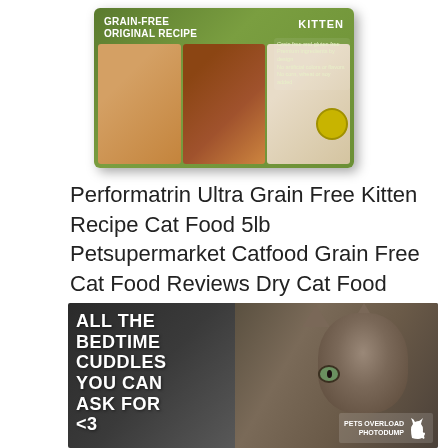[Figure (photo): Performatrin Ultra Grain-Free Original Recipe Kitten cat food box, green packaging with food images and kitten label]
Performatrin Ultra Grain Free Kitten Recipe Cat Food 5lb Petsupermarket Catfood Grain Free Cat Food Reviews Dry Cat Food
[Figure (photo): Cat meme photo showing a tabby cat with overlaid text reading 'ALL THE BEDTIME CUDDLES YOU CAN ASK FOR <3' with 'PETS OVERLOAD PHOTODUMP' watermark and cat silhouette logo in bottom right]